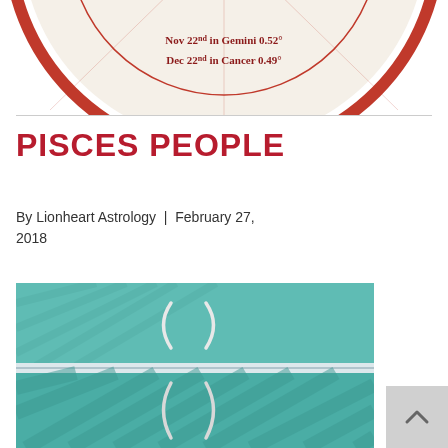[Figure (photo): Partial view of a circular astrology chart with text 'Nov 22nd in Gemini 0.52°' and 'Dec 22nd in Cancer 0.49°' on a cream/beige background with a red border ring]
PISCES PEOPLE
By Lionheart Astrology | February 27, 2018
[Figure (photo): Aerial/top-down photograph of what appears to be two fish-shaped or curved white bracket shapes in a turquoise/teal colored pool or water surface, with a horizontal dividing line through the middle]